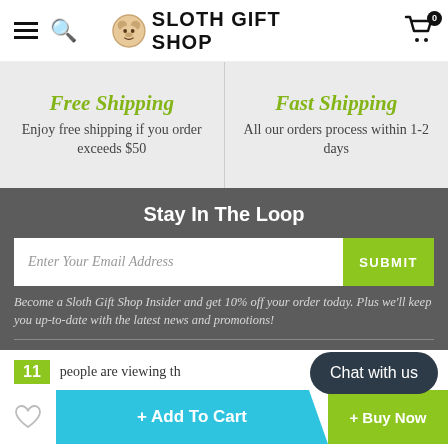Sloth Gift Shop
Free Shipping
Enjoy free shipping if you order exceeds $50
Fast Shipping
All our orders process within 1-2 days
Stay In The Loop
Enter Your Email Address
SUBMIT
Become a Sloth Gift Shop Insider and get 10% off your order today. Plus we'll keep you up-to-date with the latest news and promotions!
11 people are viewing th
Chat with us
+ Add To Cart
+ Buy Now